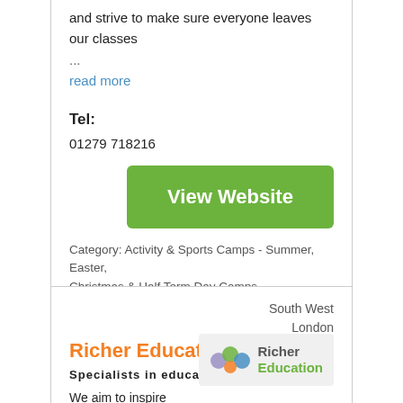and strive to make sure everyone leaves our classes
…
read more
Tel:
01279 718216
[Figure (other): Green 'View Website' button]
Category: Activity & Sports Camps - Summer, Easter, Christmas & Half Term Day Camps
South West London
Richer Education
Specialists in education
[Figure (logo): Richer Education logo with colored circles]
We aim to inspire children aged 4-14 to think beyond the school curriculum and expand their worldviews by developing problem-solving skills, teamwork and resilience.